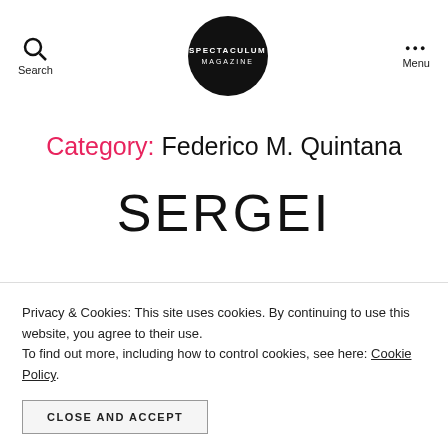Search | SPECTACULUM MAGAZINE | Menu
Category: Federico M. Quintana
SERGEI
Privacy & Cookies: This site uses cookies. By continuing to use this website, you agree to their use. To find out more, including how to control cookies, see here: Cookie Policy.
CLOSE AND ACCEPT